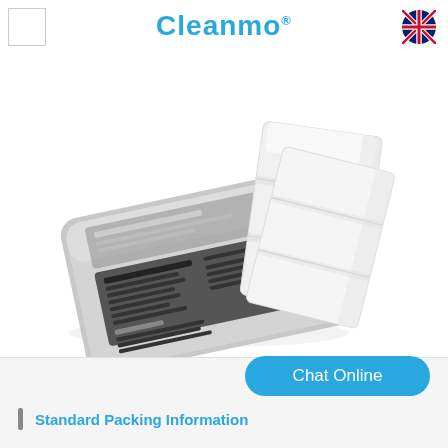[Figure (logo): Small white square logo placeholder in top left corner]
Cleanmo®
[Figure (illustration): UK flag icon in top right corner]
[Figure (photo): Product photo showing a Cleanmo Technical Cleaning Wipe packet (foil pouch with printed label listing features and uses) alongside two white folded cleaning wipes extracted from the packet, on a white background.]
Chat Online
Standard Packing Information